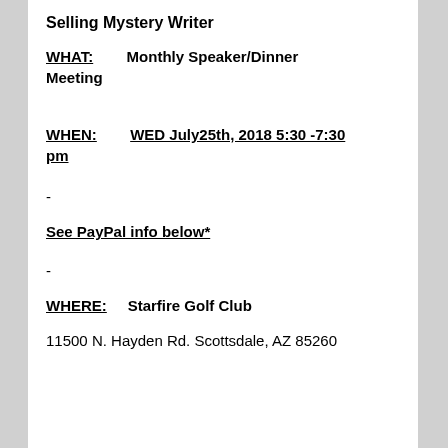Selling Mystery Writer
WHAT:        Monthly Speaker/Dinner Meeting
WHEN:        WED July25th, 2018 5:30 -7:30 pm
-
See PayPal info below*
-
WHERE:      Starfire Golf Club
11500 N. Hayden Rd.  Scottsdale, AZ 85260